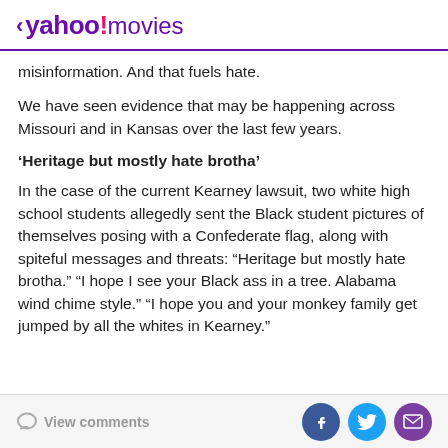< yahoo!movies
misinformation. And that fuels hate.
We have seen evidence that may be happening across Missouri and in Kansas over the last few years.
‘Heritage but mostly hate brotha’
In the case of the current Kearney lawsuit, two white high school students allegedly sent the Black student pictures of themselves posing with a Confederate flag, along with spiteful messages and threats: “Heritage but mostly hate brotha.” “I hope I see your Black ass in a tree. Alabama wind chime style.” “I hope you and your monkey family get jumped by all the whites in Kearney.”
View comments